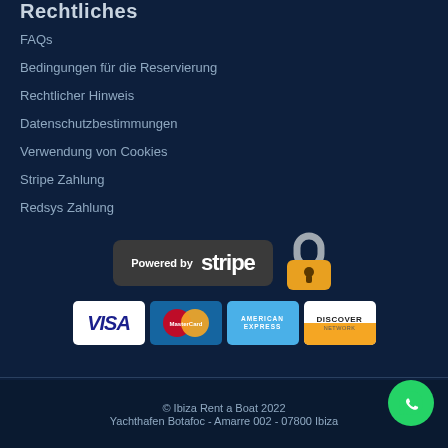Rechtliches
FAQs
Bedingungen für die Reservierung
Rechtlicher Hinweis
Datenschutzbestimmungen
Verwendung von Cookies
Stripe Zahlung
Redsys Zahlung
[Figure (logo): Powered by Stripe badge with lock icon and payment card logos: VISA, MasterCard, American Express, Discover Network]
© Ibiza Rent a Boat 2022
Yachthafen Botafoc - Amarre 002 - 07800 Ibiza